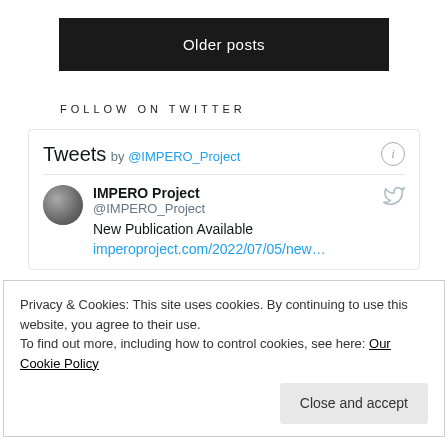Older posts
FOLLOW ON TWITTER
[Figure (screenshot): Embedded Twitter widget showing 'Tweets by @IMPERO_Project' with an IMPERO Project tweet about 'New Publication Available' linking to imperoproject.com/2022/07/05/new...]
Privacy & Cookies: This site uses cookies. By continuing to use this website, you agree to their use. To find out more, including how to control cookies, see here: Our Cookie Policy
Close and accept
FOLLOW ON FACEBOOK